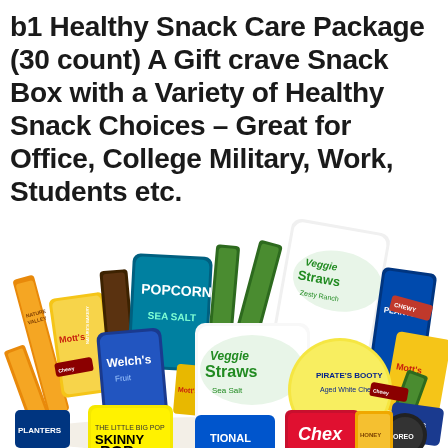b1 Healthy Snack Care Package (30 count) A Gift crave Snack Box with a Variety of Healthy Snack Choices – Great for Office, College Military, Work, Students etc.
[Figure (photo): A large assortment of healthy snack packages piled together including Veggie Straws, PopCorners, Nature Valley bars, Welch's fruit snacks, Mott's, Chewy bars, Pirate's Booty, Planters, SkinnyPop, Chex, and other snack brands.]